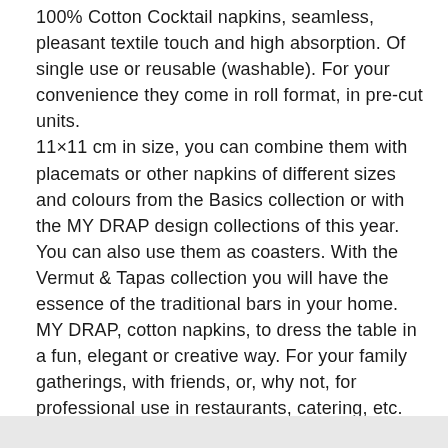100% Cotton Cocktail napkins, seamless, pleasant textile touch and high absorption. Of single use or reusable (washable). For your convenience they come in roll format, in pre-cut units. 11×11 cm in size, you can combine them with placemats or other napkins of different sizes and colours from the Basics collection or with the MY DRAP design collections of this year. You can also use them as coasters. With the Vermut & Tapas collection you will have the essence of the traditional bars in your home. MY DRAP, cotton napkins, to dress the table in a fun, elegant or creative way. For your family gatherings, with friends, or, why not, for professional use in restaurants, catering, etc. MY DRAP, the detail making the difference.